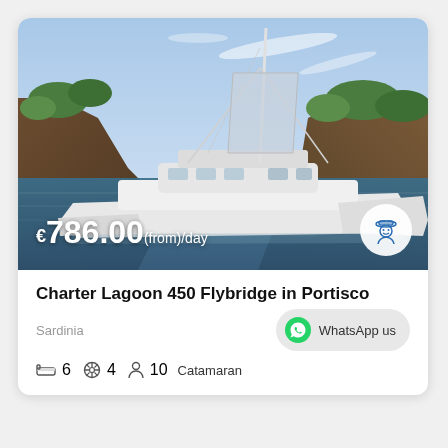[Figure (photo): A large white catamaran (Lagoon 450 Flybridge) moored near rocky cliffs and green vegetation, on calm blue water, with sails furled. Price overlay shows €786.00 (from)/day with a skipper badge icon in the bottom right corner.]
Charter Lagoon 450 Flybridge in Portisco
Sardinia
WhatsApp us
6  4  10  Catamaran